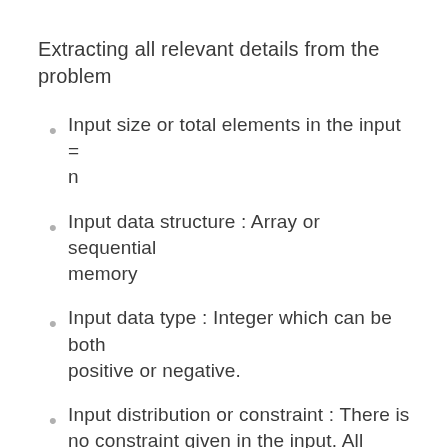Extracting all relevant details from the problem
Input size or total elements in the input = n
Input data structure: Array or sequential memory
Input data type: Integer which can be both positive or negative.
Input distribution or constraint: There is no constraint given in the input. All integers are stored in random order.
Input: Array of integers and a value k
Output: If the value is present then return